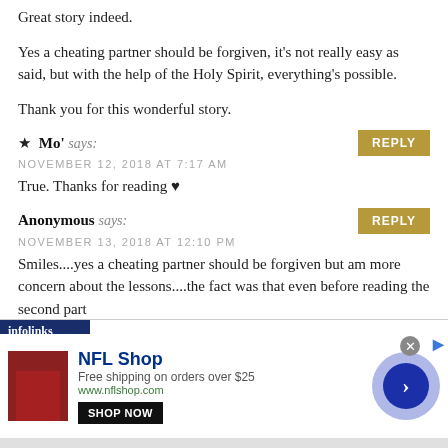Great story indeed.
Yes a cheating partner should be forgiven, it's not really easy as said, but with the help of the Holy Spirit, everything's possible.
Thank you for this wonderful story.
★ Mo' says:
NOVEMBER 12, 2018 AT 7:17 AM
True. Thanks for reading ♥
Anonymous says:
NOVEMBER 13, 2018 AT 12:10 PM
Smiles....yes a cheating partner should be forgiven but am more concern about the lessons....the fact was that even before reading the second part
[Figure (other): Advertisement banner for NFL Shop showing red jersey image, text 'NFL Shop Free shipping on orders over $25 www.nflshop.com', SHOP NOW button, navigation arrow circle, and infolinks branding bar.]